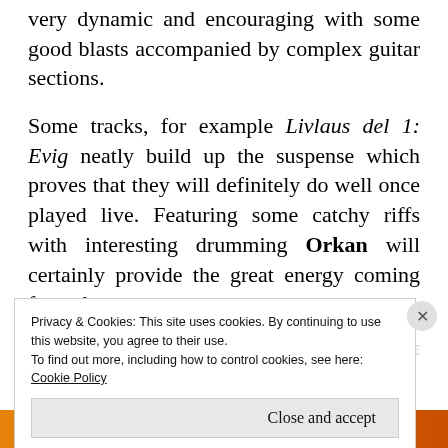very dynamic and encouraging with some good blasts accompanied by complex guitar sections.
Some tracks, for example Livlaus del 1: Evig neatly build up the suspense which proves that they will definitely do well once played live. Featuring some catchy riffs with interesting drumming Orkan will certainly provide the great energy coming from the stage.
[partial obscured text]
Privacy & Cookies: This site uses cookies. By continuing to use this website, you agree to their use.
To find out more, including how to control cookies, see here:
Cookie Policy
Close and accept
email with more privacy.